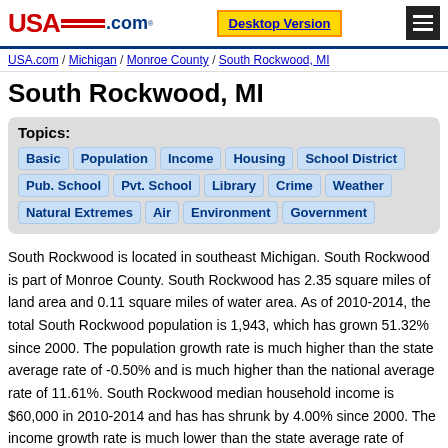USA.com | Desktop Version | [menu]
USA.com / Michigan / Monroe County / South Rockwood, MI
South Rockwood, MI
Topics: Basic | Population | Income | Housing | School District | Pub. School | Pvt. School | Library | Crime | Weather | Natural Extremes | Air | Environment | Government
South Rockwood is located in southeast Michigan. South Rockwood is part of Monroe County. South Rockwood has 2.35 square miles of land area and 0.11 square miles of water area. As of 2010-2014, the total South Rockwood population is 1,943, which has grown 51.32% since 2000. The population growth rate is much higher than the state average rate of -0.50% and is much higher than the national average rate of 11.61%. South Rockwood median household income is $60,000 in 2010-2014 and has has shrunk by 4.00% since 2000. The income growth rate is much lower than the state average rate of 9.90% and is much lower than the national average rate of 27.36%. South Rockwood median house value is $114,200